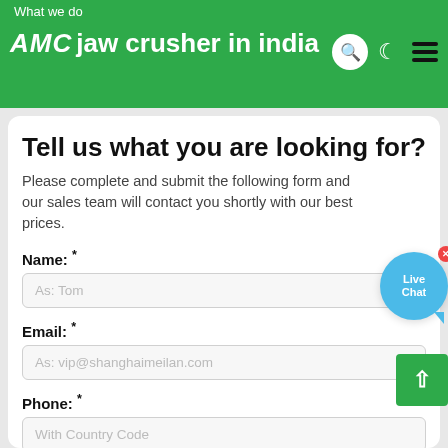What we do
AMC jaw crusher in india
Tell us what you are looking for?
Please complete and submit the following form and our sales team will contact you shortly with our best prices.
Name: *
As: Tom
Email: *
As: vip@shanghaimeilan.com
Phone: *
With Country Code
The Location of the Project: